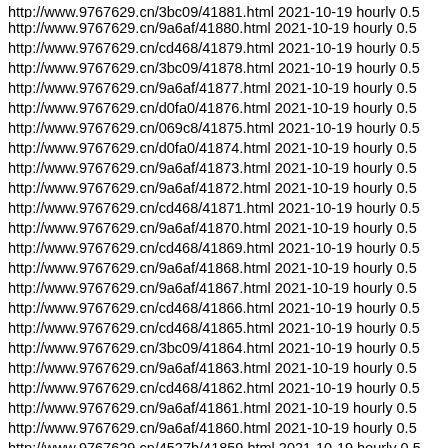http://www.9767629.cn/3bc09/41881.html 2021-10-19 hourly 0.5
http://www.9767629.cn/9a6af/41880.html 2021-10-19 hourly 0.5
http://www.9767629.cn/cd468/41879.html 2021-10-19 hourly 0.5
http://www.9767629.cn/3bc09/41878.html 2021-10-19 hourly 0.5
http://www.9767629.cn/9a6af/41877.html 2021-10-19 hourly 0.5
http://www.9767629.cn/d0fa0/41876.html 2021-10-19 hourly 0.5
http://www.9767629.cn/069c8/41875.html 2021-10-19 hourly 0.5
http://www.9767629.cn/d0fa0/41874.html 2021-10-19 hourly 0.5
http://www.9767629.cn/9a6af/41873.html 2021-10-19 hourly 0.5
http://www.9767629.cn/9a6af/41872.html 2021-10-19 hourly 0.5
http://www.9767629.cn/cd468/41871.html 2021-10-19 hourly 0.5
http://www.9767629.cn/9a6af/41870.html 2021-10-19 hourly 0.5
http://www.9767629.cn/cd468/41869.html 2021-10-19 hourly 0.5
http://www.9767629.cn/9a6af/41868.html 2021-10-19 hourly 0.5
http://www.9767629.cn/9a6af/41867.html 2021-10-19 hourly 0.5
http://www.9767629.cn/cd468/41866.html 2021-10-19 hourly 0.5
http://www.9767629.cn/cd468/41865.html 2021-10-19 hourly 0.5
http://www.9767629.cn/3bc09/41864.html 2021-10-19 hourly 0.5
http://www.9767629.cn/9a6af/41863.html 2021-10-19 hourly 0.5
http://www.9767629.cn/cd468/41862.html 2021-10-19 hourly 0.5
http://www.9767629.cn/9a6af/41861.html 2021-10-19 hourly 0.5
http://www.9767629.cn/9a6af/41860.html 2021-10-19 hourly 0.5
http://www.9767629.cn/4527b/41859.html 2021-10-19 hourly 0.5
http://www.9767629.cn/3bc09/41858.html 2021-10-19 hourly 0.5
http://www.9767629.cn/4527b/41857.html 2021-10-19 hourly 0.5
http://www.9767629.cn/cd468/41856.html 2021-10-19 hourly 0.5